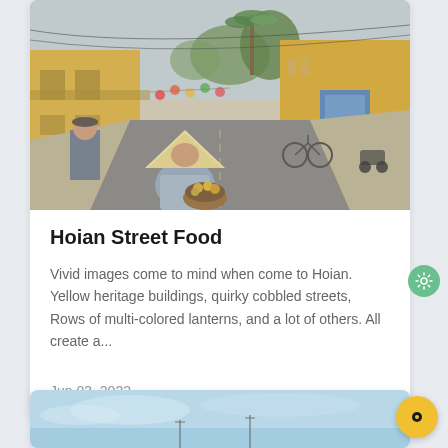[Figure (photo): Street scene in Hoi An, Vietnam. Yellow heritage buildings lining a cobblestone street with a woman in a conical hat selling fruit from a basket in the foreground.]
Hoian Street Food
Vivid images come to mind when come to Hoian. Yellow heritage buildings, quirky cobbled streets, Rows of multi-colored lanterns, and a lot of others. All create a...
Jun 03, 2022
[Figure (photo): Partial view of a second card with a light blue/sky background, showing what appears to be a coastal or outdoor scene.]